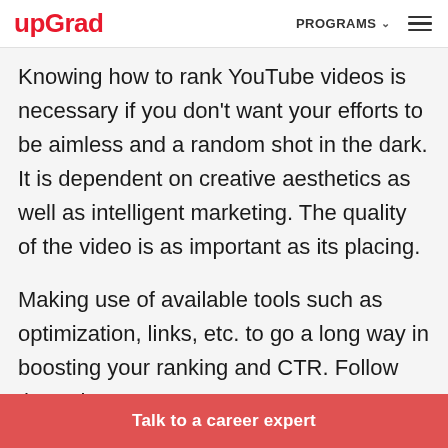upGrad | PROGRAMS
Knowing how to rank YouTube videos is necessary if you don't want your efforts to be aimless and a random shot in the dark. It is dependent on creative aesthetics as well as intelligent marketing. The quality of the video is as important as its placing.
Making use of available tools such as optimization, links, etc. to go a long way in boosting your ranking and CTR. Follow through
Talk to a career expert